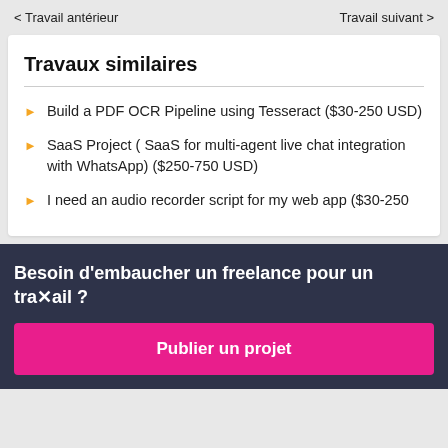< Travail antérieur    Travail suivant >
Travaux similaires
Build a PDF OCR Pipeline using Tesseract ($30-250 USD)
SaaS Project ( SaaS for multi-agent live chat integration with WhatsApp) ($250-750 USD)
I need an audio recorder script for my web app ($30-250 USD)
Besoin d'embaucher un freelance pour un travail ?
Publier un projet